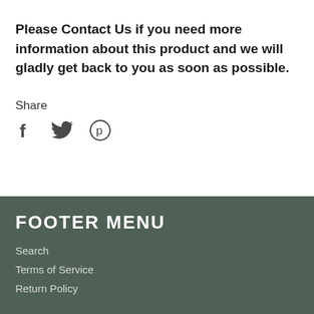Please Contact Us if you need more information about this product and we will gladly get back to you as soon as possible.
Share
[Figure (other): Social media share icons: Facebook (f), Twitter (bird), Pinterest (p)]
FOOTER MENU
Search
Terms of Service
Return Policy